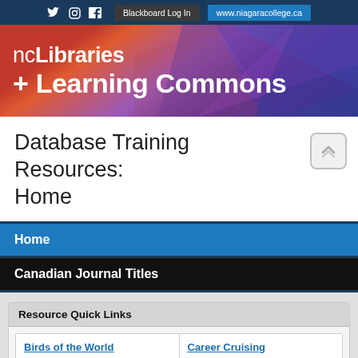Twitter | Instagram | Facebook | Blackboard Log In | www.niagaracollege.ca
[Figure (logo): ncLibraries + Learning Commons banner logo with colorful polygon background]
Database Training Resources: Home
Home
Canadian Journal Titles
Resource Quick Links
Birds of the World
Career Cruising